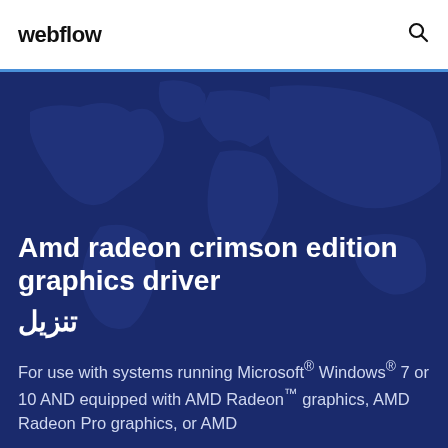webflow
Amd radeon crimson edition graphics driver تنزيل
For use with systems running Microsoft® Windows® 7 or 10 AND equipped with AMD Radeon™ graphics, AMD Radeon Pro graphics, or AMD